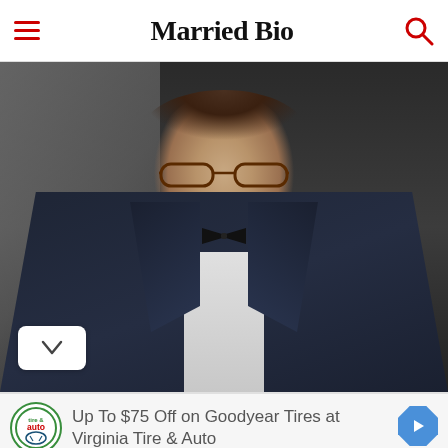Married Bio
[Figure (photo): Man wearing glasses, dark suit, bow tie and white dress shirt, photographed at an event]
Up To $75 Off on Goodyear Tires at Virginia Tire & Auto